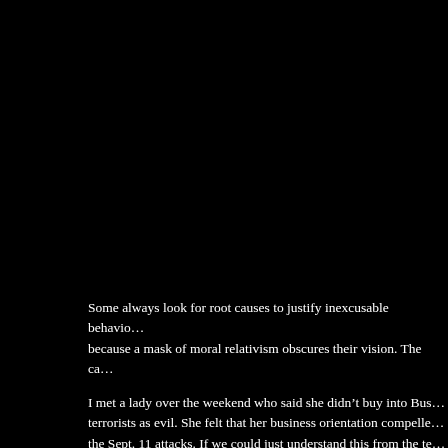Some always look for root causes to justify inexcusable behavior because a mask of moral relativism obscures their vision. The ca...
I met a lady over the weekend who said she didn't buy into Bush's labeling terrorists as evil. She felt that her business orientation compelled her to understand the Sept. 11 attacks. If we could just understand this from the terrorists' perspective, their grievances rationally -- as opposed to violently -- and resolve them at the table.